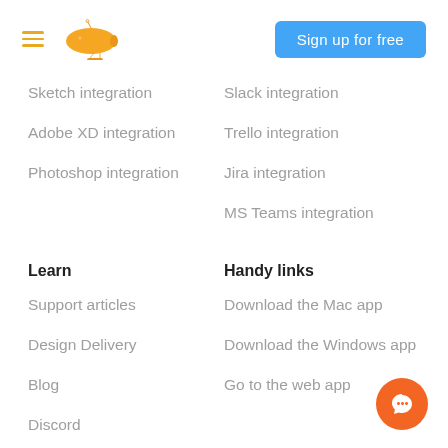Sign up for free
Sketch integration
Slack integration
Adobe XD integration
Trello integration
Photoshop integration
Jira integration
MS Teams integration
Learn
Handy links
Support articles
Download the Mac app
Design Delivery
Download the Windows app
Blog
Go to the web app
Discord
Twitter